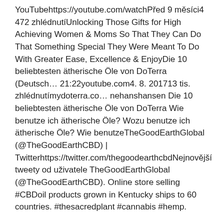YouTubehttps://youtube.com/watchPřed 9 měsíci4 472 zhlédnutíUnlocking Those Gifts for High Achieving Women & Moms So That They Can Do That Something Special They Were Meant To Do With Greater Ease, Excellence & EnjoyDie 10 beliebtesten ätherische Öle von DoTerra (Deutsch… 21:22youtube.com4. 8. 201713 tis. zhlédnutímydoterra.co… nehanshansen Die 10 beliebtesten ätherische Öle von DoTerra Wie benutze ich ätherische Öle? Wozu benutze ich ätherische Öle? Wie benutzeTheGoodEarthGlobal (@TheGoodEarthCBD) | Twitterhttps://twitter.com/thegoodearthcbdNejnovější tweety od uživatele TheGoodEarthGlobal (@TheGoodEarthCBD). Online store selling #CBDoil products grown in Kentucky ships to 60 countries. #thesacredplant #cannabis #hemp.
DoTerra is introducing new sustainable shipping solutions for